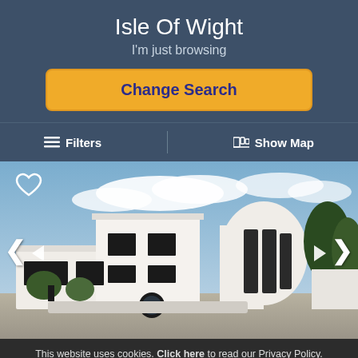Isle Of Wight
I'm just browsing
Change Search
≡ Filters
Show Map
[Figure (photo): Modern white cubic/curved architecture house with dark window frames, surrounded by tropical plants under a cloudy sky. Carousel arrows on left and right.]
This website uses cookies. Click here to read our Privacy Policy. If that's okay with you, just keep browsing. CLOSE